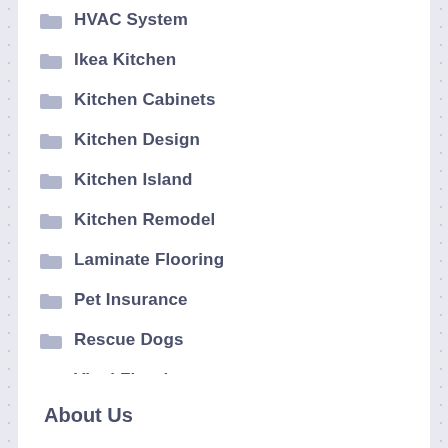HVAC System
Ikea Kitchen
Kitchen Cabinets
Kitchen Design
Kitchen Island
Kitchen Remodel
Laminate Flooring
Pet Insurance
Rescue Dogs
Vinyl Flooring
About Us